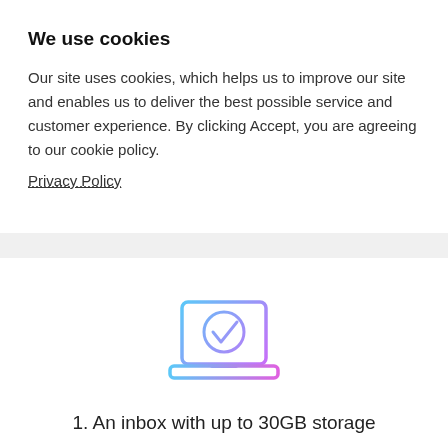We use cookies
Our site uses cookies, which helps us to improve our site and enables us to deliver the best possible service and customer experience. By clicking Accept, you are agreeing to our cookie policy.
Privacy Policy
[Figure (screenshot): Two green buttons: Decline and Accept]
[Figure (screenshot): Gray button: Show settings]
[Figure (illustration): Laptop with checkmark icon in gradient blue-to-pink outline style]
1. An inbox with up to 30GB storage